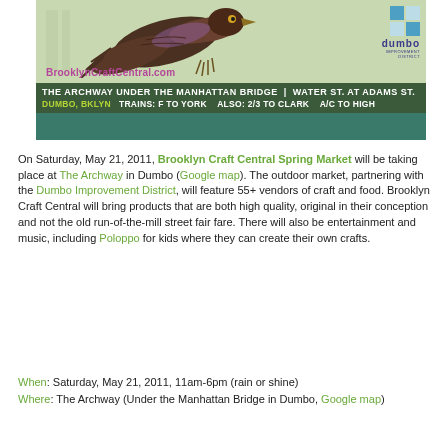[Figure (illustration): Brooklyn Craft Central Spring Market banner image showing a large bird illustration over a green background, with the URL BrooklynCraftCentral.com, Dumbo Improvement District logo (teal squares grid), and venue/transit details at the bottom: 'The Archway Under the Manhattan Bridge | Water St. at Adams St.' and 'Dumbo, BKLYN  Trains: F to York  Also: 2/3 to Clark  A/C to High']
On Saturday, May 21, 2011, Brooklyn Craft Central Spring Market will be taking place at The Archway in Dumbo (Google map). The outdoor market, partnering with the Dumbo Improvement District, will feature 55+ vendors of craft and food. Brooklyn Craft Central will bring products that are both high quality, original in their conception and not the old run-of-the-mill street fair fare. There will also be entertainment and music, including Poloppo for kids where they can create their own crafts.
When: Saturday, May 21, 2011, 11am-6pm (rain or shine)
Where: The Archway (Under the Manhattan Bridge in Dumbo, Google map)